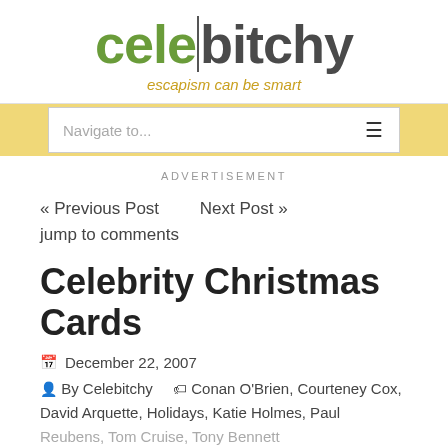celebitchy – escapism can be smart
Navigate to...
ADVERTISEMENT
« Previous Post     Next Post »
jump to comments
Celebrity Christmas Cards
December 22, 2007
By Celebitchy    Conan O'Brien, Courteney Cox, David Arquette, Holidays, Katie Holmes, Paul Reubens, Tom Cruise, Tony Bennett